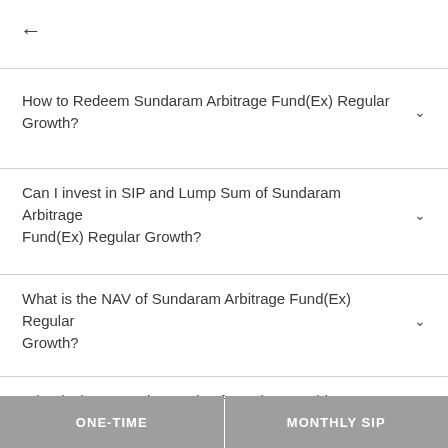←
How to Redeem Sundaram Arbitrage Fund(Ex) Regular Growth?
Can I invest in SIP and Lump Sum of Sundaram Arbitrage Fund(Ex) Regular Growth?
What is the NAV of Sundaram Arbitrage Fund(Ex) Regular Growth?
What is the PE and PB ratio of Sundaram Arbitrage Fund(Ex)
ONE-TIME
MONTHLY SIP